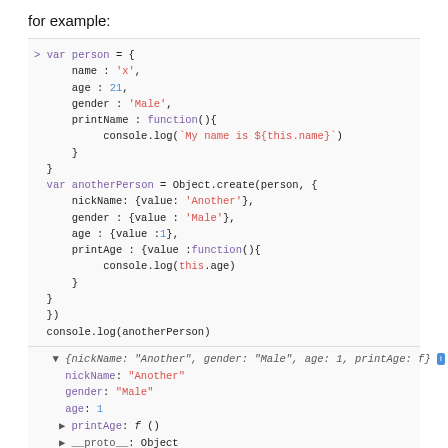for example:
[Figure (screenshot): Code block showing JavaScript object creation with var person and var anotherPerson using Object.create(), followed by console.log output showing the object properties including nickName: 'Another', gender: 'Male', age: 1, printAge: f, and __proto__: Object]
The second argument in our Object.create() which is an Object of Object where each nested object defines the